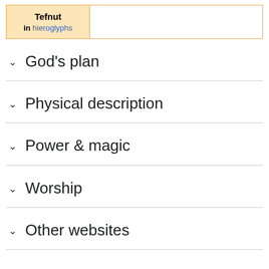| Tefnut in hieroglyphs |  |
| --- | --- |
God's plan
Physical description
Power & magic
Worship
Other websites